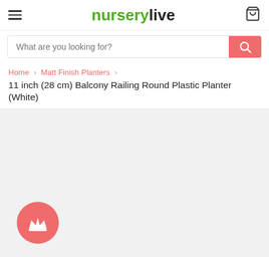nurserylive
What are you looking for?
Home > Matt Finish Planters > 11 inch (28 cm) Balcony Railing Round Plastic Planter (White)
11 inch (28 cm) Balcony Railing Round Plastic Planter (White)
[Figure (photo): Product image area showing a light grey background with a salmon/coral colored circular crown badge icon in the lower left corner]